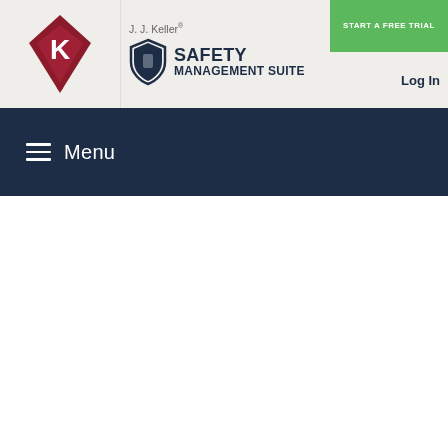[Figure (logo): J.J. Keller Safety Management Suite header with diamond logo, shield icon, brand name, Start a Free Trial button, and Log In link]
☰ Menu